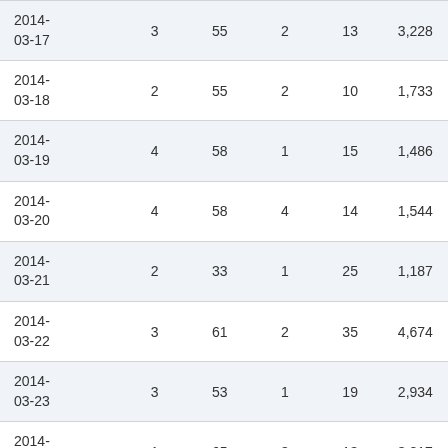| 2014-03-17 | 3 | 55 | 2 | 13 | 3,228 |
| 2014-03-18 | 2 | 55 | 2 | 10 | 1,733 |
| 2014-03-19 | 4 | 58 | 1 | 15 | 1,486 |
| 2014-03-20 | 4 | 58 | 4 | 14 | 1,544 |
| 2014-03-21 | 2 | 33 | 1 | 25 | 1,187 |
| 2014-03-22 | 3 | 61 | 2 | 35 | 4,674 |
| 2014-03-23 | 3 | 53 | 1 | 19 | 2,934 |
| 2014-03-24 | 1 | 65 | 3 | 13 | 3,817 |
| 2014-03-25 | 4 | 63 | 1 | 15 | 1,661 |
| 2014-03-26 | 1 | 51 | 3 | 20 | 1,633 |
| 2014-03-27 | 4 | 68 | 1 | 20 | 1,642 |